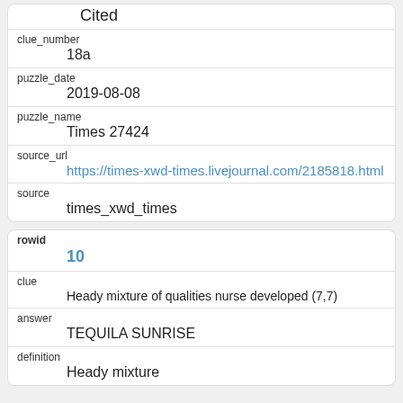| Cited |
| clue_number | 18a |
| puzzle_date | 2019-08-08 |
| puzzle_name | Times 27424 |
| source_url | https://times-xwd-times.livejournal.com/2185818.html |
| source | times_xwd_times |
| rowid | 10 |
| clue | Heady mixture of qualities nurse developed (7,7) |
| answer | TEQUILA SUNRISE |
| definition | Heady mixture |